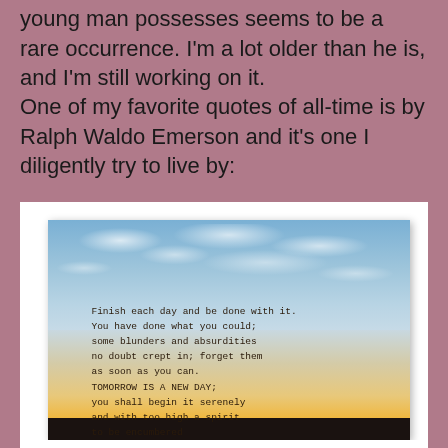young man possesses seems to be a rare occurrence. I'm a lot older than he is, and I'm still working on it.
One of my favorite quotes of all-time is by Ralph Waldo Emerson and it's one I diligently try to live by:
[Figure (photo): A photo of a sunset/sky landscape with clouds, overlaid with a typewriter-font quote by Emerson: 'Finish each day and be done with it. You have done what you could; some blunders and absurdities no doubt crept in; forget them as soon as you can. TOMORROW IS A NEW DAY; you shall begin it serenely and with too high a spirit to be encumbered with your old nonsense. -Emerson']